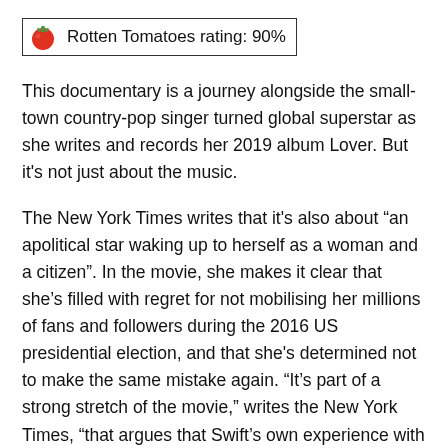Rotten Tomatoes rating: 90%
This documentary is a journey alongside the small-town country-pop singer turned global superstar as she writes and records her 2019 album Lover. But it's not just about the music.
The New York Times writes that it's also about “an apolitical star waking up to herself as a woman and a citizen”. In the movie, she makes it clear that she’s filled with regret for not mobilising her millions of fans and followers during the 2016 US presidential election, and that she's determined not to make the same mistake again. “It’s part of a strong stretch of the movie,” writes the New York Times, “that argues that Swift’s own experience with a handsy (and consequently litigious) radio